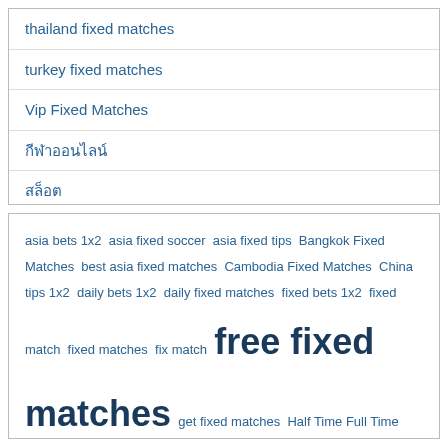thailand fixed matches
turkey fixed matches
Vip Fixed Matches
กีฬาออนไลน์
สล็อต
asia bets 1x2 asia fixed soccer asia fixed tips Bangkok Fixed Matches best asia fixed matches Cambodia Fixed Matches China tips 1x2 daily bets 1x2 daily fixed matches fixed bets 1x2 fixed match fixed matches fix match free fixed matches get fixed matches Half Time Full Time Fixed Matches Ho Chi Fixed Matches hongkong tips 1x2 ht ft fixed ht ft fixed matches india 1x2 india fixed bets indonesia bets 1x2 Indonesia Fixed Matches megavip tips mumbai fixed matches North Korea Fixed Bets 1x2 osaka fixed matches pay fixed matches safest fixed matches singapore 1x2 singapore fixed bets South Korea Fixed Matches taiwan fixed matches Tokyo Fixed Matches Vietnam Fixed Matches Vip Fixed Matches vip safe fixed matches vip tips 1x2 Weekend Fixed Matches win fixed matches ฟุตบอลไทย ทีเด็ด 1x2